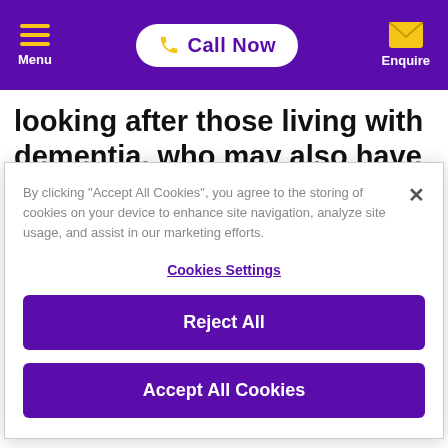Menu | Call Now | Enquire
looking after those living with dementia, who may also have other long-term medical conditions. We also provide respite care to give family or friends
By clicking "Accept All Cookies", you agree to the storing of cookies on your device to enhance site navigation, analyze site usage, and assist in our marketing efforts.
Cookies Settings
Reject All
Accept All Cookies